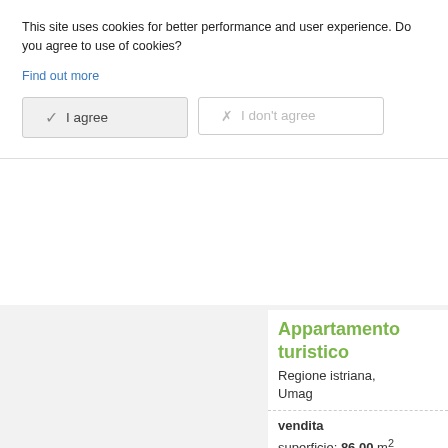This site uses cookies for better performance and user experience. Do you agree to use of cookies?
Find out more
I agree
I don't agree
Appartamento turistico
Regione istriana, Umag
vendita
superficie: 86,00 m²
Prezzo: 395.000,00
SONCE SKUPINA d
Continua